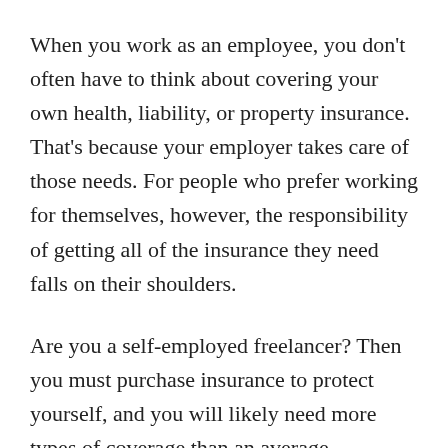When you work as an employee, you don't often have to think about covering your own health, liability, or property insurance. That's because your employer takes care of those needs. For people who prefer working for themselves, however, the responsibility of getting all of the insurance they need falls on their shoulders.
Are you a self-employed freelancer? Then you must purchase insurance to protect yourself, and you will likely need more types of coverage than an average employee would. Hey, it's just part of the cost of being your own boss—and